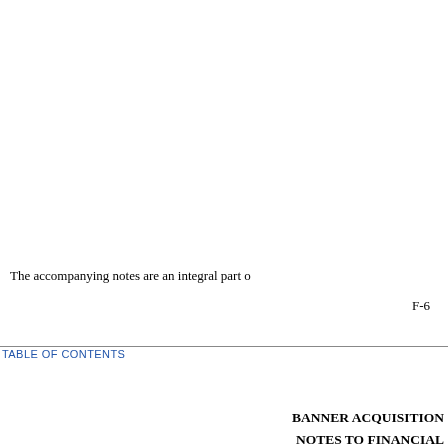The accompanying notes are an integral part o
F-6
TABLE OF CONTENTS
BANNER ACQUISITION
NOTES TO FINANCIAL